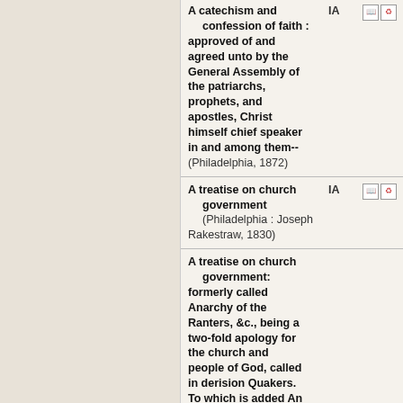A catechism and confession of faith : approved of and agreed unto by the General Assembly of the patriarchs, prophets, and apostles, Christ himself chief speaker in and among them-- (Philadelphia, 1872)
A treatise on church government (Philadelphia : Joseph Rakestraw, 1830)
A treatise on church government: formerly called Anarchy of the Ranters, &c., being a two-fold apology for the church and people of God, called in derision Quakers. To which is added An epistle to the Natinal Meeting of Friends in Dublin, concerning good